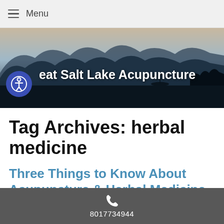Menu
[Figure (photo): Hero banner showing misty karst mountains over water with text 'Great Salt Lake Acupuncture' and an accessibility icon]
Tag Archives: herbal medicine
Three Things to Know About Acupuncture & Herbal Medicine
Acupuncture and herbal medicine often go hand-in-
8017734944